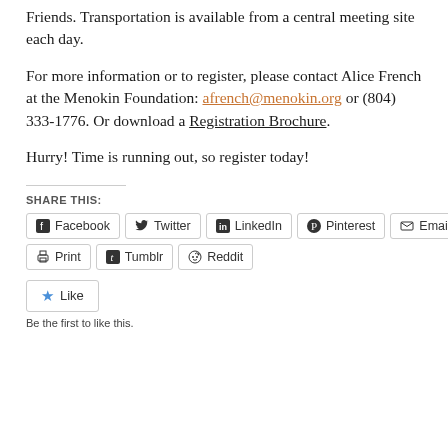Friends. Transportation is available from a central meeting site each day.
For more information or to register, please contact Alice French at the Menokin Foundation: afrench@menokin.org or (804) 333-1776. Or download a Registration Brochure.
Hurry! Time is running out, so register today!
SHARE THIS:
[Figure (other): Social share buttons: Facebook, Twitter, LinkedIn, Pinterest, Email, Print, Tumblr, Reddit]
[Figure (other): Like button with star icon and text: Be the first to like this.]